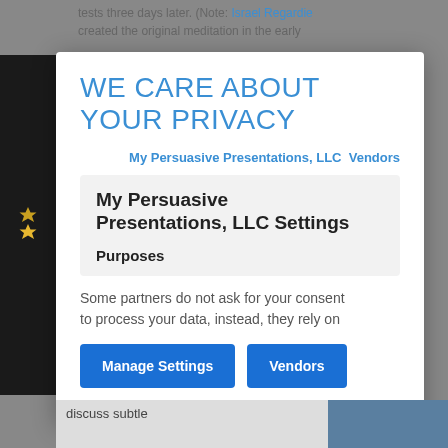tests three days later. (Note: Israel Regardie created the original meditation in the early
WE CARE ABOUT YOUR PRIVACY
My Persuasive Presentations, LLC   Vendors
My Persuasive Presentations, LLC Settings
Purposes
Some partners do not ask for your consent to process your data, instead, they rely on
Manage Settings   Vendors
discuss subtle